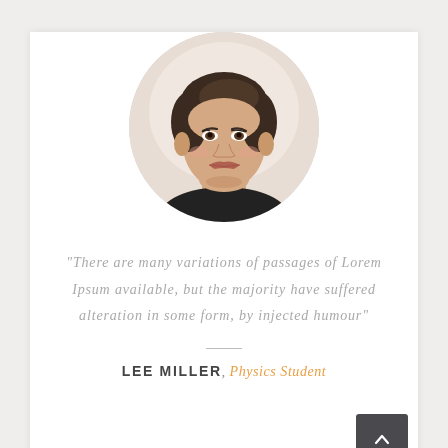[Figure (photo): Circular portrait photo of a young woman with short dark hair, smiling, wearing a black top, against a light background.]
“There are many variations of passages of Lorem Ipsum available, but the majority have suffered alteration in some form, by injected humour”
LEE MILLER, Physics Student